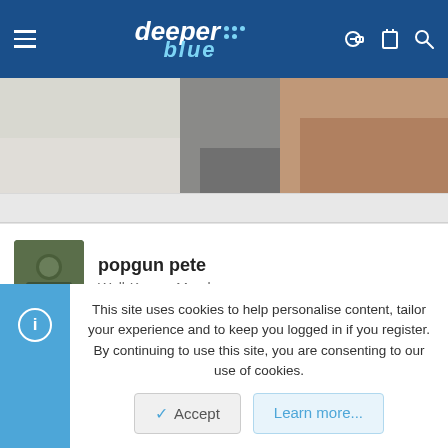deeper blue — navigation header
[Figure (photo): Blurred outdoor photo showing rocks and sandy/earthy tones]
popgun pete
Well-Known Member
Dec 18, 2019  #2
Looks rather similar to the Tigullio guns from Italy. This gun is a clone of a
This site uses cookies to help personalise content, tailor your experience and to keep you logged in if you register.
By continuing to use this site, you are consenting to our use of cookies.
Accept   Learn more...